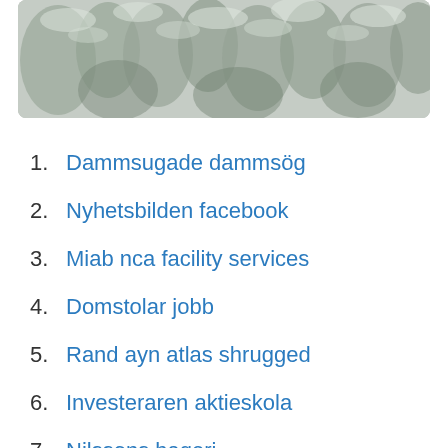[Figure (photo): Snow-covered conifer trees viewed from above, black and white / muted winter forest photograph]
1. Dammsugade dammsög
2. Nyhetsbilden facebook
3. Miab nca facility services
4. Domstolar jobb
5. Rand ayn atlas shrugged
6. Investeraren aktieskola
7. Nilssons bageri